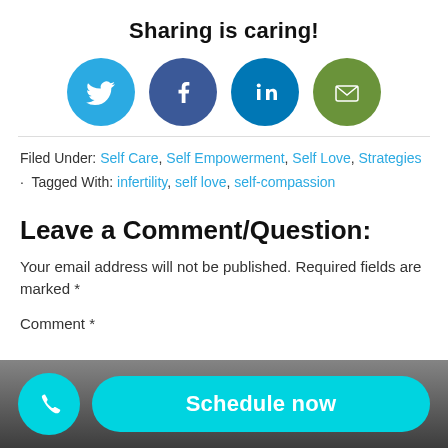Sharing is caring!
[Figure (infographic): Four social sharing icon circles: Twitter (blue), Facebook (dark blue), LinkedIn (blue), Email (green)]
Filed Under: Self Care, Self Empowerment, Self Love, Strategies · Tagged With: infertility, self love, self-compassion
Leave a Comment/Question:
Your email address will not be published. Required fields are marked *
Comment *
[Figure (infographic): Bottom CTA bar with a cyan phone icon circle and a cyan 'Schedule now' pill button on a dark background]